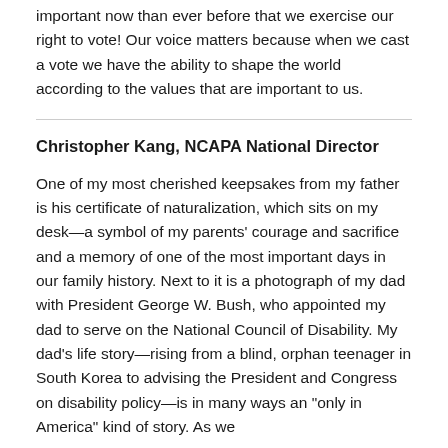important now than ever before that we exercise our right to vote!  Our voice matters because when we cast a vote we have the ability to shape the world according to the values that are important to us.
Christopher Kang, NCAPA National Director
One of my most cherished keepsakes from my father is his certificate of naturalization, which sits on my desk—a symbol of my parents' courage and sacrifice and a memory of one of the most important days in our family history. Next to it is a photograph of my dad with President George W. Bush, who appointed my dad to serve on the National Council of Disability. My dad's life story—rising from a blind, orphan teenager in South Korea to advising the President and Congress on disability policy—is in many ways an "only in America" kind of story. As we